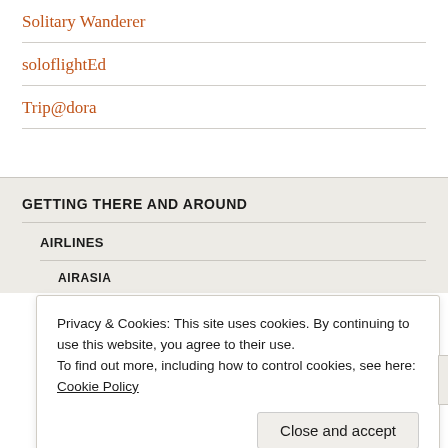Solitary Wanderer
soloflightEd
Trip@dora
GETTING THERE AND AROUND
AIRLINES
AIRASIA
Privacy & Cookies: This site uses cookies. By continuing to use this website, you agree to their use.
To find out more, including how to control cookies, see here: Cookie Policy
Close and accept